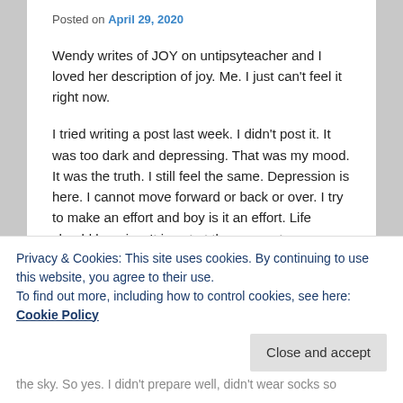Posted on April 29, 2020
Wendy writes of JOY on untipsyteacher and I loved her description of joy. Me. I just can't feel it right now.
I tried writing a post last week. I didn't post it. It was too dark and depressing. That was my mood. It was the truth. I still feel the same. Depression is here. I cannot move forward or back or over. I try to make an effort and boy is it an effort. Life should be a joy. It is not at the moment.
I am joyless. I am depressed.
Coronavirus is creating a layer on our lives which we
Privacy & Cookies: This site uses cookies. By continuing to use this website, you agree to their use.
To find out more, including how to control cookies, see here: Cookie Policy
Close and accept
the sky. So yes. I didn't prepare well, didn't wear socks so